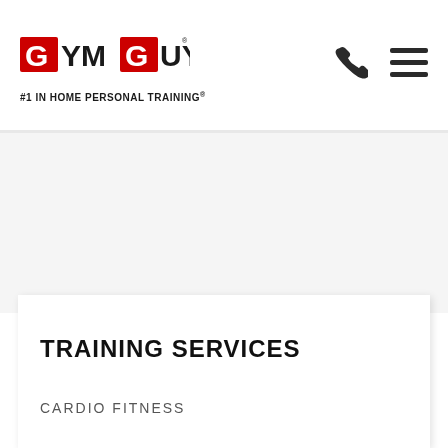[Figure (logo): GYMGUYZ logo with red and black lettering, styled athletic font. Tagline: #1 IN HOME PERSONAL TRAINING®]
[Figure (other): Phone icon (telephone handset) in dark gray/black]
[Figure (other): Hamburger menu icon (three horizontal lines) in dark gray/black]
TRAINING SERVICES
CARDIO FITNESS